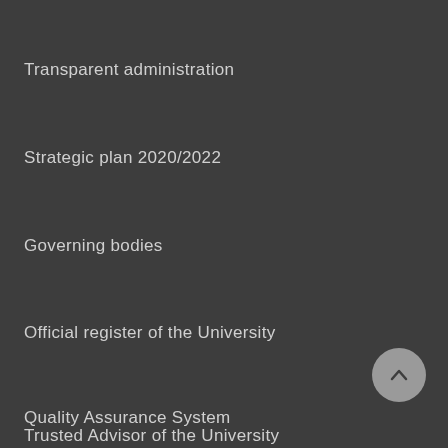Transparent administration
Strategic plan 2020/2022
Governing bodies
Official register of the University
Quality Assurance System
Trusted Advisor of the University